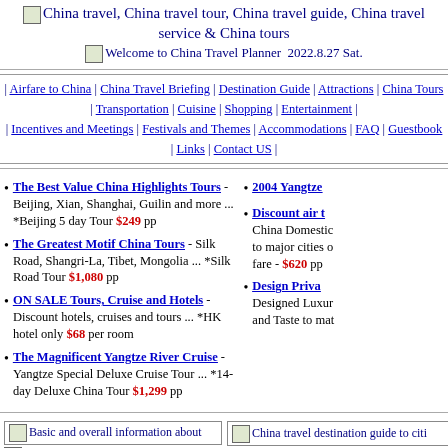China travel, China travel tour, China travel guide, China travel service & China tours
Welcome to China Travel Planner 2022.8.27 Sat.
| Airfare to China | China Travel Briefing | Destination Guide | Attractions | China Tours | Transportation | Cuisine | Shopping | Entertainment | | Incentives and Meetings | Festivals and Themes | Accommodations | FAQ | Guestbook | Links | Contact US |
The Best Value China Highlights Tours - Beijing, Xian, Shanghai, Guilin and more ... *Beijing 5 day Tour $249 pp
The Greatest Motif China Tours - Silk Road, Shangri-La, Tibet, Mongolia ... *Silk Road Tour $1,080 pp
ON SALE Tours, Cruise and Hotels - Discount hotels, cruises and tours ... *HK hotel only $68 per room
The Magnificent Yangtze River Cruise - Yangtze Special Deluxe Cruise Tour ... *14-day Deluxe China Tour $1,299 pp
2004 Yangtze
Discount air - China Domestic to major cities o fare - $620 pp
Design Priva - Designed Luxur and Taste to mat
Basic and overall information about
Basic and overall information about China
The Chinese travel industry is not only rich in resources; it has also come a long way in service, transportation, accommodations, catering and shopping facilities, and recreation. Tourist facilities are being constantly improved, and so is the travel services.
China Travel Briefing
China travel destination guide to citi Silk Road, Shangri-La, China's Water To Macau, Wild West of China. Anhui, Beijing, Chongqing, Fujian, Gar Guangdong., Guangxi, Guizhou, Hainan Hebei, Heilongjiang, Henan, Hubei, Hu Inner Mongolia, Jiangsu, Jiangxi, Jilin, Liaoning, Ningxia, Qinghai, Shaanxi, Shanghai, Shanxi, Sichuan, Tianjin, Tib Xinjiang, Yunnan, Zhejiang
China Destination Guide